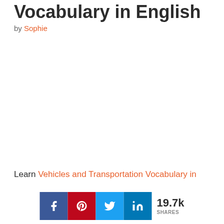Vocabulary in English
by Sophie
Learn Vehicles and Transportation Vocabulary in
[Figure (infographic): Social share buttons: Facebook (blue), Pinterest (red), Twitter (light blue), LinkedIn (dark blue), with share count 19.7k SHARES]